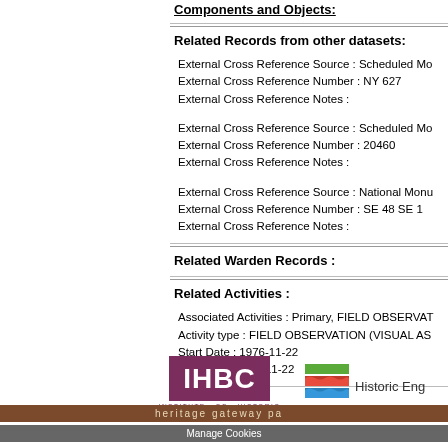Components and Objects:
Related Records from other datasets:
External Cross Reference Source : Scheduled Mo
External Cross Reference Number : NY 627
External Cross Reference Notes :
External Cross Reference Source : Scheduled Mo
External Cross Reference Number : 20460
External Cross Reference Notes :
External Cross Reference Source : National Monu
External Cross Reference Number : SE 48 SE 1
External Cross Reference Notes :
Related Warden Records :
Related Activities :
Associated Activities : Primary, FIELD OBSERVAT
Activity type : FIELD OBSERVATION (VISUAL AS
Start Date : 1976-11-22
End Date : 1976-11-22
[Figure (logo): IHBC - Institute of Historic Building Conservation logo, purple square with white IHBC text]
[Figure (logo): Historic England logo with coloured stripes and text]
heritage gateway pa
Manage Cookies